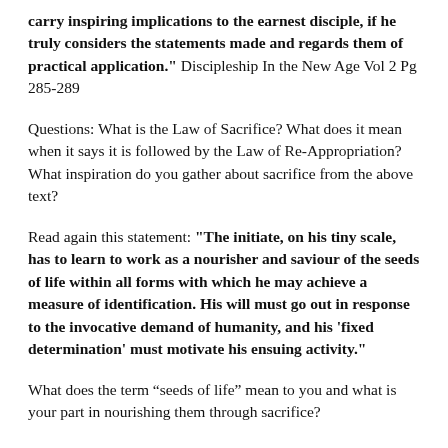carry inspiring implications to the earnest disciple, if he truly considers the statements made and regards them of practical application." Discipleship In the New Age Vol 2 Pg 285-289
Questions: What is the Law of Sacrifice? What does it mean when it says it is followed by the Law of Re-Appropriation? What inspiration do you gather about sacrifice from the above text?
Read again this statement: "The initiate, on his tiny scale, has to learn to work as a nourisher and saviour of the seeds of life within all forms with which he may achieve a measure of identification. His will must go out in response to the invocative demand of humanity, and his 'fixed determination' must motivate his ensuing activity."
What does the term “seeds of life” mean to you and what is your part in nourishing them through sacrifice?